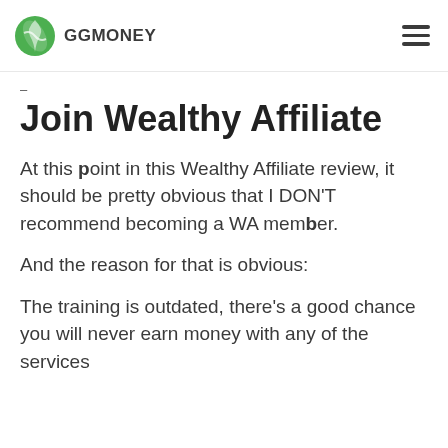GGMONEY
Join Wealthy Affiliate
At this point in this Wealthy Affiliate review, it should be pretty obvious that I DON'T recommend becoming a WA member.
And the reason for that is obvious:
The training is outdated, there's a good chance you will never earn money with any of the services